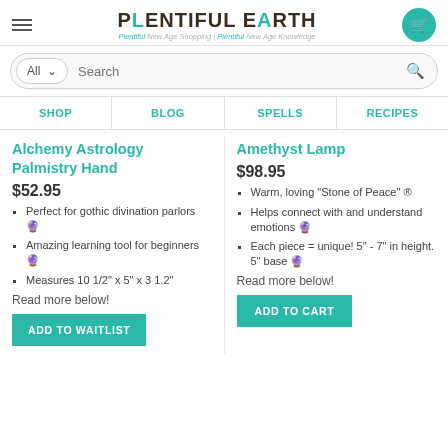Plentiful Earth — Plentiful New Age Shopping | Plentiful New Age Knowledge
All  Search
SHOP  BLOG  SPELLS  RECIPES
Alchemy Astrology Palmistry Hand
$52.95
Perfect for gothic divination parlors 🔮
Amazing learning tool for beginners 🔮
Measures 10 1/2" x 5" x 3 1.2"
Read more below!
ADD TO WAITLIST
Amethyst Lamp
$98.95
Warm, loving "Stone of Peace" ®
Helps connect with and understand emotions 🔮
Each piece = unique! 5" - 7" in height. 5" base 🔮
Read more below!
ADD TO CART